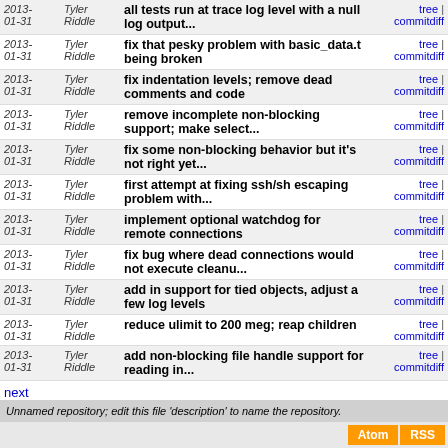| Date | Author | Message | Links |
| --- | --- | --- | --- |
| 2013-01-31 | Tyler Riddle | all tests run at trace log level with a null log output... | tree | commitdiff |
| 2013-01-31 | Tyler Riddle | fix that pesky problem with basic_data.t being broken | tree | commitdiff |
| 2013-01-31 | Tyler Riddle | fix indentation levels; remove dead comments and code | tree | commitdiff |
| 2013-01-31 | Tyler Riddle | remove incomplete non-blocking support; make select... | tree | commitdiff |
| 2013-01-31 | Tyler Riddle | fix some non-blocking behavior but it's not right yet... | tree | commitdiff |
| 2013-01-31 | Tyler Riddle | first attempt at fixing ssh/sh escaping problem with... | tree | commitdiff |
| 2013-01-31 | Tyler Riddle | implement optional watchdog for remote connections | tree | commitdiff |
| 2013-01-31 | Tyler Riddle | fix bug where dead connections would not execute cleanu... | tree | commitdiff |
| 2013-01-31 | Tyler Riddle | add in support for tied objects, adjust a few log levels | tree | commitdiff |
| 2013-01-31 | Tyler Riddle | reduce ulimit to 200 meg; reap children | tree | commitdiff |
| 2013-01-31 | Tyler Riddle | add non-blocking file handle support for reading in... | tree | commitdiff |
next
Unnamed repository; edit this file 'description' to name the repository.